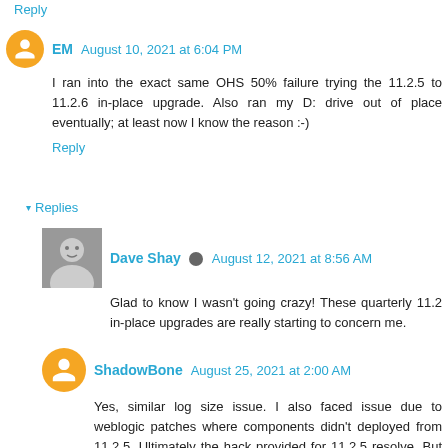Reply
EM  August 10, 2021 at 6:04 PM
I ran into the exact same OHS 50% failure trying the 11.2.5 to 11.2.6 in-place upgrade. Also ran my D: drive out of place eventually; at least now I know the reason :-)
Reply
▾ Replies
Dave Shay  August 12, 2021 at 8:56 AM
Glad to know I wasn't going crazy! These quarterly 11.2 in-place upgrades are really starting to concern me.
ShadowBone  August 25, 2021 at 2:00 AM
Yes, similar log size issue. I also faced issue due to weblogic patches where components didn't deployed from 11.2.5. Ultimately the hack provided for 11.2.5 resolve. But at trial and in